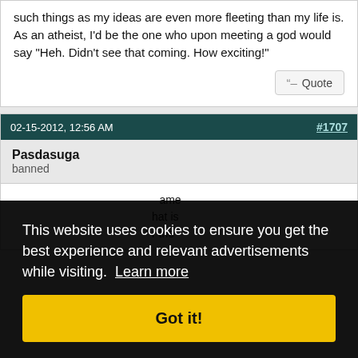such things as my ideas are even more fleeting than my life is. As an atheist, I'd be the one who upon meeting a god would say "Heh. Didn't see that coming. How exciting!"
Quote
02-15-2012, 12:56 AM  #1707
Pasdasuga
banned
...ame ...hat is ...r the
This website uses cookies to ensure you get the best experience and relevant advertisements while visiting. Learn more
Got it!
Thanks for the link. I love Bach! You never really did answer